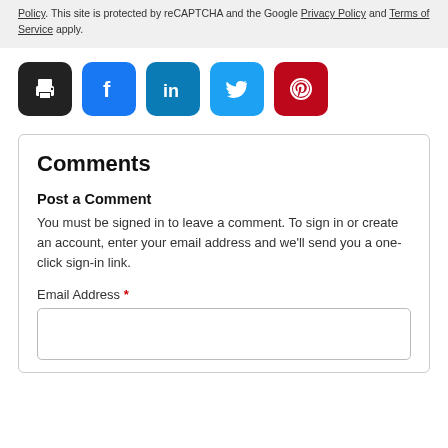Policy. This site is protected by reCAPTCHA and the Google Privacy Policy and Terms of Service apply.
[Figure (other): Row of five social share buttons: print (black), Facebook (blue), LinkedIn (dark blue), Twitter (light blue), Pinterest (red), each as a rounded square icon button.]
Comments
Post a Comment
You must be signed in to leave a comment. To sign in or create an account, enter your email address and we'll send you a one-click sign-in link.
Email Address *